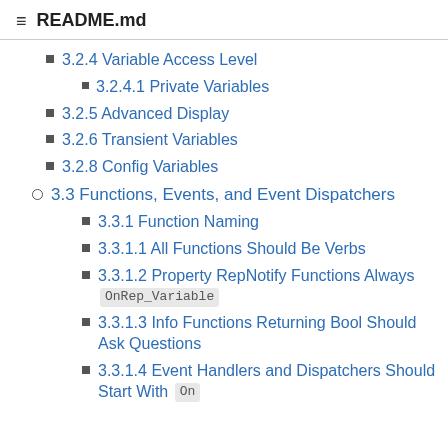README.md
3.2.4 Variable Access Level
3.2.4.1 Private Variables
3.2.5 Advanced Display
3.2.6 Transient Variables
3.2.8 Config Variables
3.3 Functions, Events, and Event Dispatchers
3.3.1 Function Naming
3.3.1.1 All Functions Should Be Verbs
3.3.1.2 Property RepNotify Functions Always OnRep_Variable
3.3.1.3 Info Functions Returning Bool Should Ask Questions
3.3.1.4 Event Handlers and Dispatchers Should Start With On